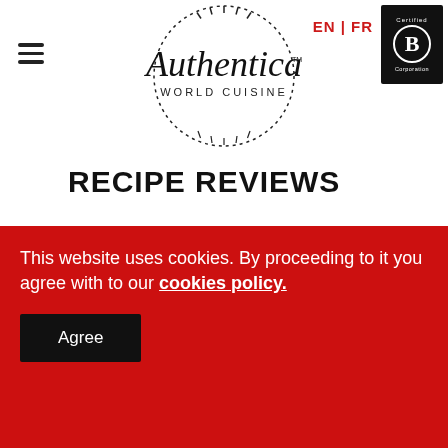[Figure (logo): Authentica World Cuisine logo — stylized script text with dotted circular border]
EN | FR
[Figure (logo): Certified B Corporation badge — black square with white B in circle]
RECIPE REVIEWS
[Figure (other): Five gray heart icons representing a 5-heart rating system, all empty/unfilled]
(0 votes)
5	(0%)
This website uses cookies. By proceeding to it you agree with to our cookies policy.
Agree